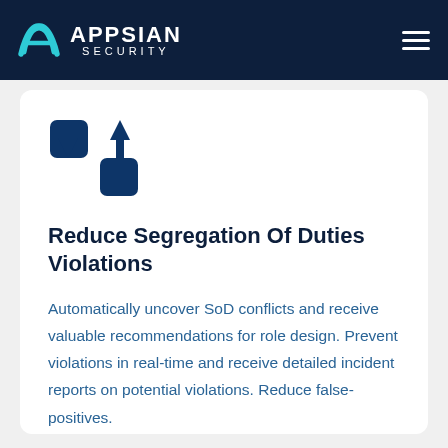APPSIAN SECURITY
[Figure (logo): Appsian Security logo with teal-colored double-A wave mark and white text APPSIAN SECURITY on dark navy background]
[Figure (illustration): Icon showing two squares with arrows indicating up and down movement, representing segregation/sorting concept, in dark navy blue color]
Reduce Segregation Of Duties Violations
Automatically uncover SoD conflicts and receive valuable recommendations for role design. Prevent violations in real-time and receive detailed incident reports on potential violations. Reduce false-positives.